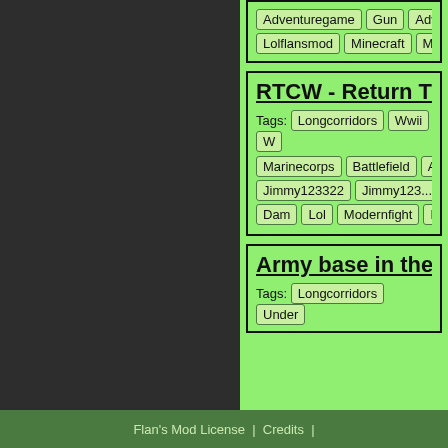Tags: Adventuregame Gun Adv... Lolflansmod Minecraft Mo...
RTCW - Return T...
Tags: Longcorridors Wwii W... Marinecorps Battlefield A... Jimmy123322 Jimmy123... Dam Lol Modernfight Naz...
Army base in the...
Tags: Longcorridors Under...
Flan's Mod License | Credits |